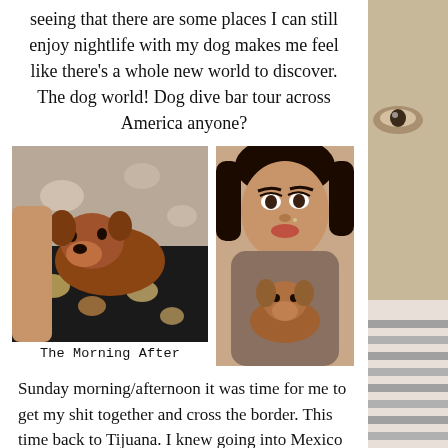seeing that there are some places I can still enjoy nightlife with my dog makes me feel like there's a whole new world to discover. The dog world! Dog dive bar tour across America anyone?
[Figure (photo): Photo of a dog lying in bed among floral blankets, resting its head on the bedding.]
[Figure (photo): Photo of a woman taking a selfie while holding a small dog against her chest.]
The Morning After
Sunday morning/afternoon it was time for me to get my shit together and cross the border. This time back to Tijuana. I knew going into Mexico there would be zero issue with getting California back into the country. After